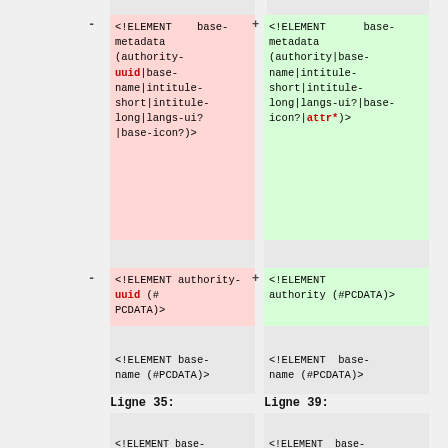[Figure (screenshot): Diff view of DTD/XML element definitions showing two-column comparison (old vs new) with red/pink removed lines and green added lines. Left column shows removed authority-uuid element, right column shows new authority element and attr* addition.]